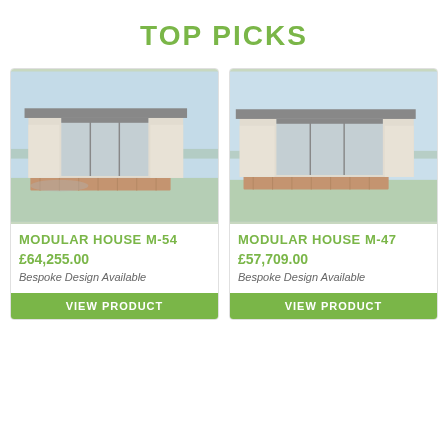TOP PICKS
[Figure (photo): Modular house M-54 exterior photo showing modern prefab building with large glass windows and wooden deck on grass]
MODULAR HOUSE M-54
£64,255.00
Bespoke Design Available
VIEW PRODUCT
[Figure (photo): Modular house M-47 exterior photo showing modern prefab building with large glass windows and wooden deck on grass]
MODULAR HOUSE M-47
£57,709.00
Bespoke Design Available
VIEW PRODUCT